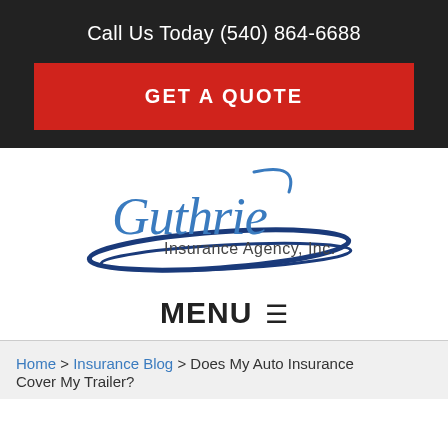Call Us Today (540) 864-6688
GET A QUOTE
[Figure (logo): Guthrie Insurance Agency, Inc. logo with blue swoosh design]
MENU
Home > Insurance Blog > Does My Auto Insurance Cover My Trailer?